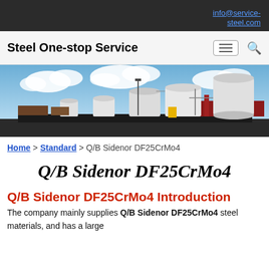info@service-steel.com
Steel One-stop Service
[Figure (photo): Industrial storage tanks and facility at a waterfront with blue sky and clouds]
Home > Standard > Q/B Sidenor DF25CrMo4
Q/B Sidenor DF25CrMo4
Q/B Sidenor DF25CrMo4 Introduction
The company mainly supplies Q/B Sidenor DF25CrMo4 steel materials, and has a large